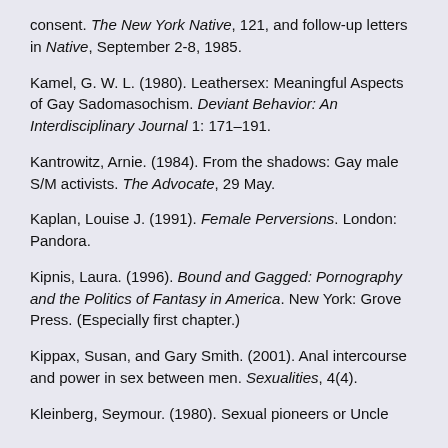consent. The New York Native, 121, and follow-up letters in Native, September 2-8, 1985.
Kamel, G. W. L. (1980). Leathersex: Meaningful Aspects of Gay Sadomasochism. Deviant Behavior: An Interdisciplinary Journal 1: 171–191.
Kantrowitz, Arnie. (1984). From the shadows: Gay male S/M activists. The Advocate, 29 May.
Kaplan, Louise J. (1991). Female Perversions. London: Pandora.
Kipnis, Laura. (1996). Bound and Gagged: Pornography and the Politics of Fantasy in America. New York: Grove Press. (Especially first chapter.)
Kippax, Susan, and Gary Smith. (2001). Anal intercourse and power in sex between men. Sexualities, 4(4).
Kleinberg, Seymour. (1980). Sexual pioneers or Uncle Toms: A report on Hirschman, Sonntag. Also the...